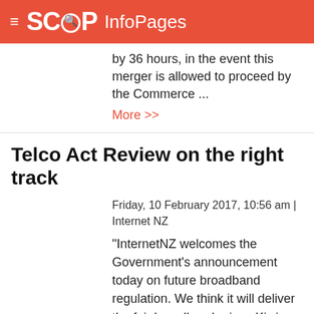SCOOP InfoPages
by 36 hours, in the event this merger is allowed to proceed by the Commerce ... More >>
Telco Act Review on the right track
Friday, 10 February 2017, 10:56 am | Internet NZ
"InternetNZ welcomes the Government's announcement today on future broadband regulation. We think it will deliver the fair broadband prices Kiwis deserve," says Jordan Carter, InternetNZ Chief Executive. More >>
Are you safe online?